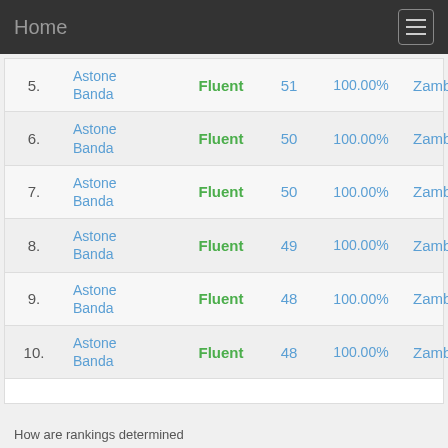Home
| # | Name | Level | Score | Percent | Country |
| --- | --- | --- | --- | --- | --- |
| 5. | Astone Banda | Fluent | 51 | 100.00% | Zambia |
| 6. | Astone Banda | Fluent | 50 | 100.00% | Zambia |
| 7. | Astone Banda | Fluent | 50 | 100.00% | Zambia |
| 8. | Astone Banda | Fluent | 49 | 100.00% | Zambia |
| 9. | Astone Banda | Fluent | 48 | 100.00% | Zambia |
| 10. | Astone Banda | Fluent | 48 | 100.00% | Zambia |
How are rankings determined